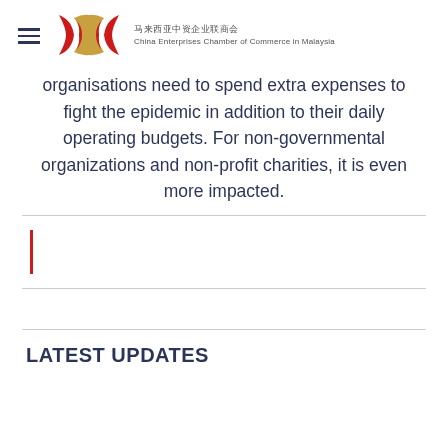马来西亚中资企业联商会 China Enterprises Chamber of Commerce in Malaysia
organisations need to spend extra expenses to fight the epidemic in addition to their daily operating budgets. For non-governmental organizations and non-profit charities, it is even more impacted.
[Figure (other): Red vertical cursor/caret bar element]
LATEST UPDATES